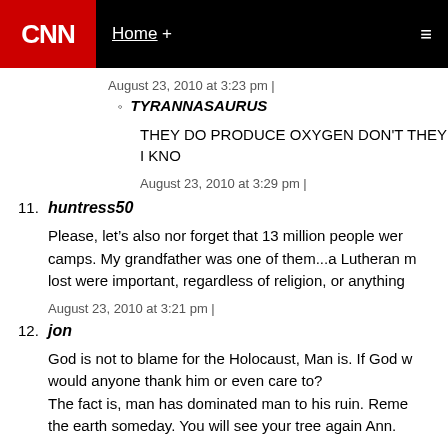CNN | Home +
August 23, 2010 at 3:23 pm |
TYRANNASAURUS
THEY DO PRODUCE OXYGEN DON'T THEY I KNO
August 23, 2010 at 3:29 pm |
11. huntress50
Please, let's also nor forget that 13 million people were in camps. My grandfather was one of them...a Lutheran man. lives lost were important, regardless of religion, or anything
August 23, 2010 at 3:21 pm |
12. jon
God is not to blame for the Holocaust, Man is. If God w would anyone thank him or even care to?
The fact is, man has dominated man to his ruin. Reme the earth someday. You will see your tree again Ann.